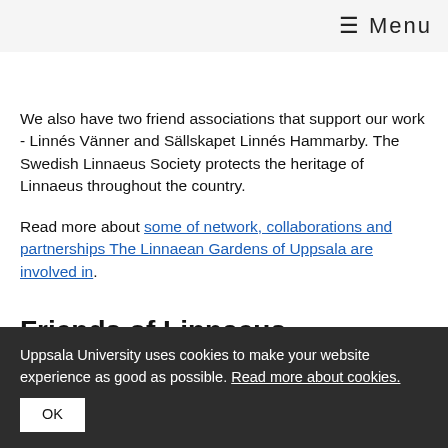≡ Menu
We also have two friend associations that support our work - Linnés Vänner and Sällskapet Linnés Hammarby. The Swedish Linnaeus Society protects the heritage of Linnaeus throughout the country.
Read more about some of network, collaborations and partnerships The Linnaean Gardens of Uppsala are involved in.
Friends of Linnaeus
The Friends of Linnaeus is a support organisation for the Uppsala Linnaean Gardens. They organise lectures, guided
Uppsala University uses cookies to make your website experience as good as possible. Read more about cookies.
OK